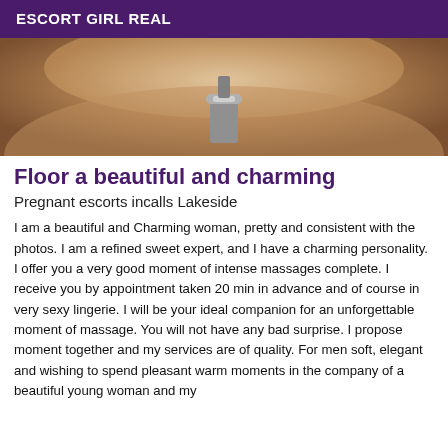ESCORT GIRL REAL
[Figure (photo): Cropped close-up photo of a person's torso/back area with a metallic candle holder or similar object visible in the center]
Floor a beautiful and charming
Pregnant escorts incalls Lakeside
I am a beautiful and Charming woman, pretty and consistent with the photos. I am a refined sweet expert, and I have a charming personality. I offer you a very good moment of intense massages complete. I receive you by appointment taken 20 min in advance and of course in very sexy lingerie. I will be your ideal companion for an unforgettable moment of massage. You will not have any bad surprise. I propose moment together and my services are of quality. For men soft, elegant and wishing to spend pleasant warm moments in the company of a beautiful young woman and my